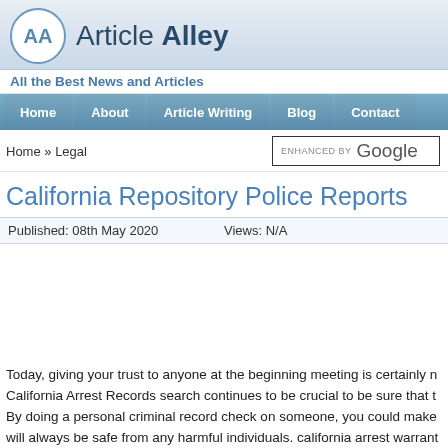Article Alley
All the Best News and Articles
Home | About | Article Writing | Blog | Contact
Home » Legal
California Repository Police Reports
Published: 08th May 2020   Views: N/A
Today, giving your trust to anyone at the beginning meeting is certainly n... California Arrest Records search continues to be crucial to be sure that t... By doing a personal criminal record check on someone, you could make ... will always be safe from any harmful individuals. california arrest warrant